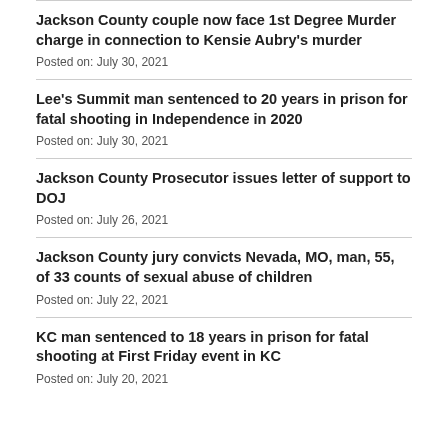Jackson County couple now face 1st Degree Murder charge in connection to Kensie Aubry's murder
Posted on: July 30, 2021
Lee's Summit man sentenced to 20 years in prison for fatal shooting in Independence in 2020
Posted on: July 30, 2021
Jackson County Prosecutor issues letter of support to DOJ
Posted on: July 26, 2021
Jackson County jury convicts Nevada, MO, man, 55, of 33 counts of sexual abuse of children
Posted on: July 22, 2021
KC man sentenced to 18 years in prison for fatal shooting at First Friday event in KC
Posted on: July 20, 2021